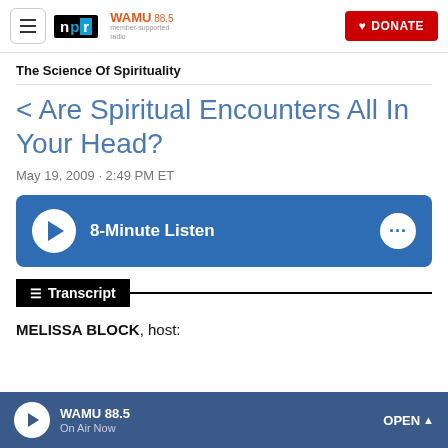NPR / WAMU 88.5 navigation bar with hamburger menu, NPR logo, WAMU 88.5 logo, and DONATE button
The Science Of Spirituality
< Are Spiritual Encounters All In Your Head?
May 19, 2009 · 2:49 PM ET
[Figure (other): Blue audio player button with play icon and label '8-Minute Listen' and a more options (...) button]
Transcript
MELISSA BLOCK, host:
WAMU 88.5 On Air Now  OPEN ^